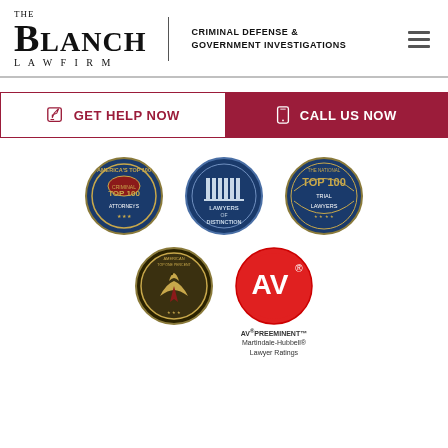[Figure (logo): The Blanch Law Firm logo with text 'THE BLANCH LAW FIRM' and tagline 'CRIMINAL DEFENSE & GOVERNMENT INVESTIGATIONS']
GET HELP NOW
CALL US NOW
[Figure (illustration): Five award badges: America's Top 100 Attorneys, Lawyers of Distinction, The National Top 100 Trial Lawyers, American Top One Percent, AV Preeminent Martindale-Hubbell Lawyer Ratings]